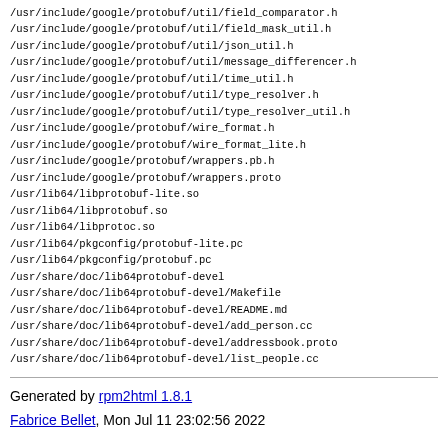/usr/include/google/protobuf/util/field_comparator.h
/usr/include/google/protobuf/util/field_mask_util.h
/usr/include/google/protobuf/util/json_util.h
/usr/include/google/protobuf/util/message_differencer.h
/usr/include/google/protobuf/util/time_util.h
/usr/include/google/protobuf/util/type_resolver.h
/usr/include/google/protobuf/util/type_resolver_util.h
/usr/include/google/protobuf/wire_format.h
/usr/include/google/protobuf/wire_format_lite.h
/usr/include/google/protobuf/wrappers.pb.h
/usr/include/google/protobuf/wrappers.proto
/usr/lib64/libprotobuf-lite.so
/usr/lib64/libprotobuf.so
/usr/lib64/libprotoc.so
/usr/lib64/pkgconfig/protobuf-lite.pc
/usr/lib64/pkgconfig/protobuf.pc
/usr/share/doc/lib64protobuf-devel
/usr/share/doc/lib64protobuf-devel/Makefile
/usr/share/doc/lib64protobuf-devel/README.md
/usr/share/doc/lib64protobuf-devel/add_person.cc
/usr/share/doc/lib64protobuf-devel/addressbook.proto
/usr/share/doc/lib64protobuf-devel/list_people.cc
Generated by rpm2html 1.8.1
Fabrice Bellet, Mon Jul 11 23:02:56 2022